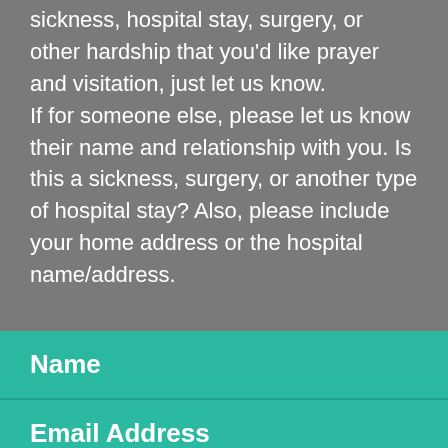sickness, hospital stay, surgery, or other hardship that you'd like prayer and visitation, just let us know.
If for someone else, please let us know their name and relationship with you. Is this a sickness, surgery, or another type of hospital stay? Also, please include your home address or the hospital name/address.
Name
Email Address